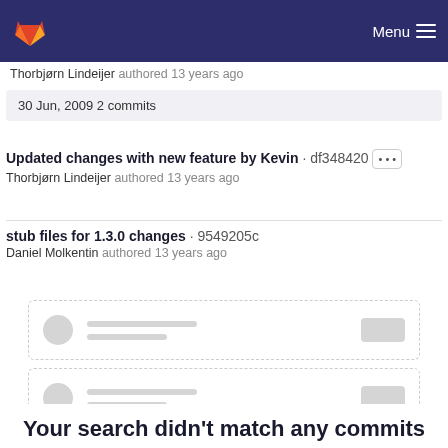GitLab — Menu
Thorbjørn Lindeijer authored 13 years ago
30 Jun, 2009 2 commits
Updated changes with new feature by Kevin · df348420
Thorbjørn Lindeijer authored 13 years ago
stub files for 1.3.0 changes · 9549205c
Daniel Molkentin authored 13 years ago
[Figure (illustration): Two skeleton loading placeholder cards with dashed borders, avatar circles, line placeholders, and button rectangles]
Your search didn't match any commits